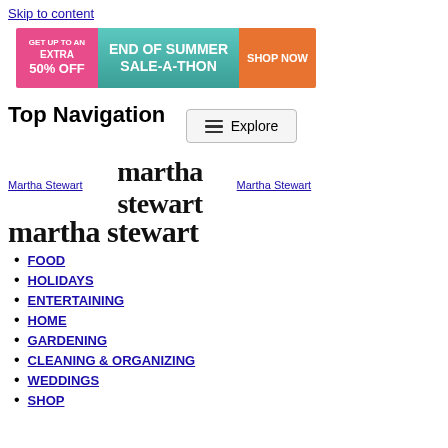Skip to content
[Figure (infographic): End of Summer Sale-A-Thon banner: GET UP TO AN EXTRA 50% OFF on the left pink section, END OF SUMMER SALE-A-THON in teal center, SHOP NOW orange button on right]
Top Navigation
[Figure (other): Explore button with hamburger icon]
[Figure (logo): Martha Stewart logo in large serif font with links: Martha Stewart on left and right]
FOOD
HOLIDAYS
ENTERTAINING
HOME
GARDENING
CLEANING & ORGANIZING
WEDDINGS
SHOP